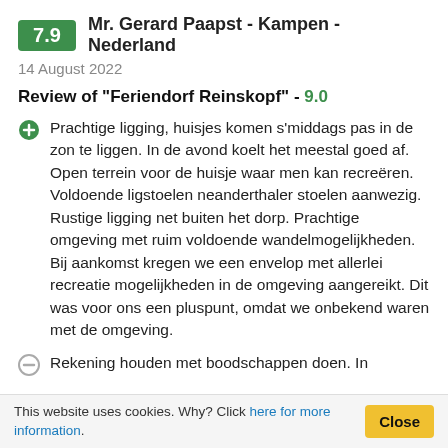7.9  Mr. Gerard Paapst - Kampen - Nederland
14 August 2022
Review of "Feriendorf Reinskopf" - 9.0
Prachtige ligging, huisjes komen s'middags pas in de zon te liggen. In de avond koelt het meestal goed af. Open terrein voor de huisje waar men kan recreëren. Voldoende ligstoelen neanderthaler stoelen aanwezig. Rustige ligging net buiten het dorp. Prachtige omgeving met ruim voldoende wandelmogelijkheden. Bij aankomst kregen we een envelop met allerlei recreatie mogelijkheden in de omgeving aangereikt. Dit was voor ons een pluspunt, omdat we onbekend waren met de omgeving.
Rekening houden met boodschappen doen. In
This website uses cookies. Why? Click here for more information.